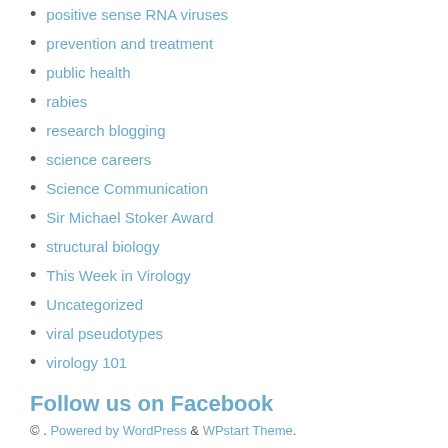positive sense RNA viruses
prevention and treatment
public health
rabies
research blogging
science careers
Science Communication
Sir Michael Stoker Award
structural biology
This Week in Virology
Uncategorized
viral pseudotypes
virology 101
Follow us on Facebook
© . Powered by WordPress & WPstart Theme.